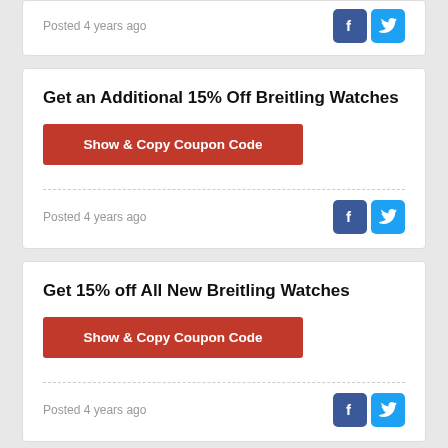Posted 4 years ago
Get an Additional 15% Off Breitling Watches
Show & Copy Coupon Code
Posted 4 years ago
Get 15% off All New Breitling Watches
Show & Copy Coupon Code
Posted 4 years ago